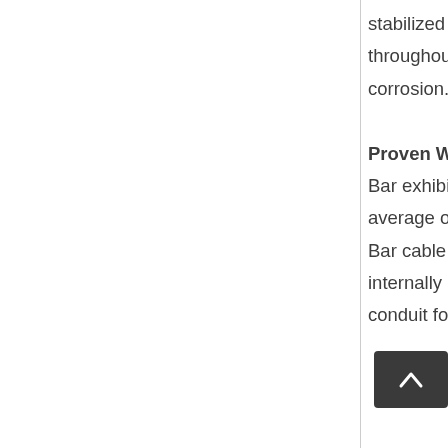stabilized with a complete bottom plate. 100% continuous welding throughout the structure seals it against moisture and premature corrosion.

Proven Weigh Bar® reliability — In a three-year study on, the Weigh Bar exhibited failure rate of just 0.3% – compared with a national industry average of 3 to 5% for load cells. To add to the overall reliability, all Weigh Bar cable is sheathed in stainless steel and internally routed through steel conduit for superior protection